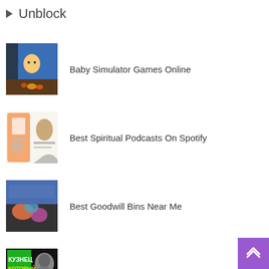▶ Unblock
Baby Simulator Games Online
Best Spiritual Podcasts On Spotify
Best Goodwill Bins Near Me
Jacksmith Hacked Unblocked Games